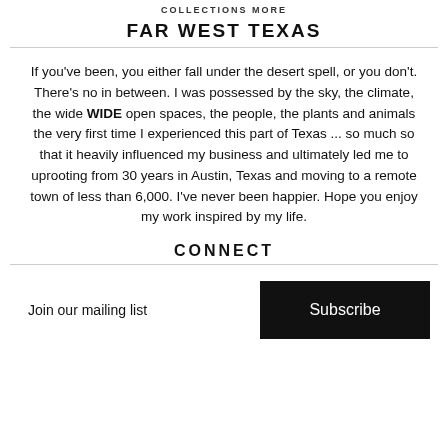COLLECTIONS MORE
FAR WEST TEXAS
If you've been, you either fall under the desert spell, or you don't. There's no in between. I was possessed by the sky, the climate, the wide WIDE open spaces, the people, the plants and animals the very first time I experienced this part of Texas ... so much so that it heavily influenced my business and ultimately led me to uprooting from 30 years in Austin, Texas and moving to a remote town of less than 6,000. I've never been happier. Hope you enjoy my work inspired by my life.
CONNECT
Join our mailing list
Subscribe